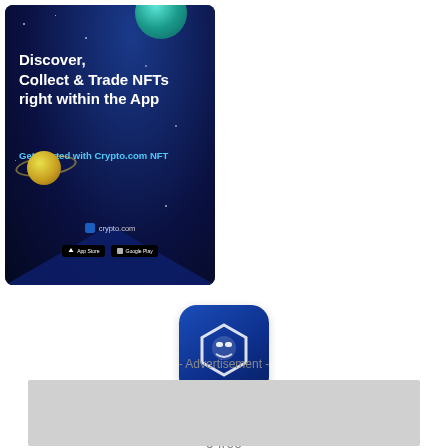[Figure (screenshot): Crypto.com NFT app advertisement banner. Left side: dark blue space background with planets, text 'Discover, Collect & Trade NFTs right within the App', 'Get Started with Crypto.com NFT', crypto.com branding and app store buttons. Right side: Crypto.com app icon (blue with hexagon logo), app title 'Crypto.com - Buy Bi...', price '5 free', green download button, AD label.]
- Advertisement -
[Figure (other): Gray rectangle placeholder for advertisement banner at bottom of page.]